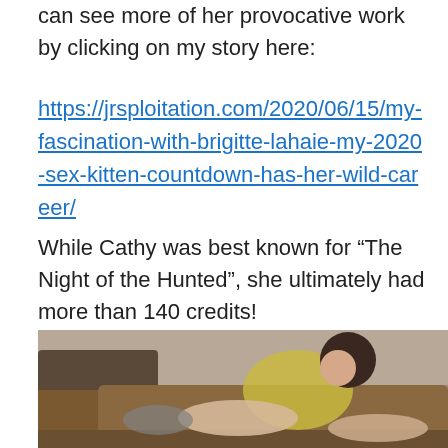can see more of her provocative work by clicking on my story here:
https://jrsploitation.com/2020/06/15/my-fascination-with-brigitte-lahaie-my-2020-sex-kitten-countdown-has-her-wild-career/
While Cathy was best known for “The Night of the Hunted”, she ultimately had more than 140 credits!
[Figure (photo): A woman in a yellow garment reclining on a brown sofa/couch, photographed in what appears to be a vintage film still.]